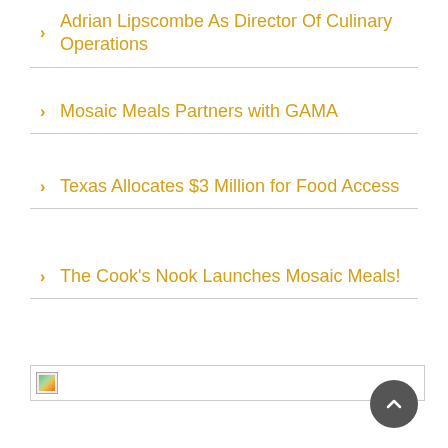Adrian Lipscombe As Director Of Culinary Operations
Mosaic Meals Partners with GAMA
Texas Allocates $3 Million for Food Access
The Cook's Nook Launches Mosaic Meals!
[Figure (other): Broken image placeholder in a bordered box]
[Figure (other): Scroll to top button - dark circular button with upward chevron arrow]